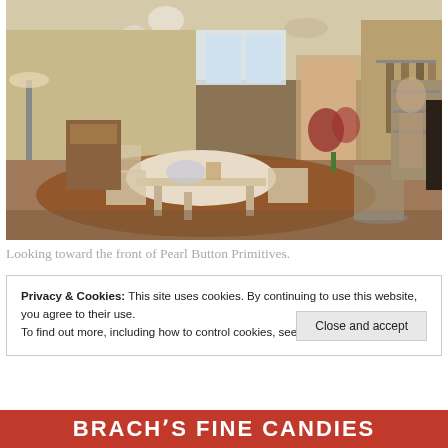[Figure (photo): Interior of Pearl Button Primitives shop showing antique furniture, decorative items, clothing racks, rugs, and eclectic vintage merchandise. View looking toward the front of the store with tables, chairs, and various collectibles visible.]
Looking toward the front of Pearl Button Primitives.
Privacy & Cookies: This site uses cookies. By continuing to use this website, you agree to their use.
To find out more, including how to control cookies, see here: Cookie Policy
[Figure (photo): Bottom banner showing text 'Brach's FINE CANDIES' in large white bold letters on a red background.]